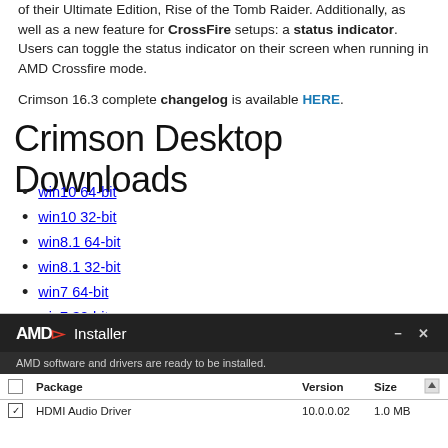of their Ultimate Edition, Rise of the Tomb Raider. Additionally, as well as a new feature for CrossFire setups: a status indicator. Users can toggle the status indicator on their screen when running in AMD Crossfire mode.
Crimson 16.3 complete changelog is available HERE.
Crimson Desktop Downloads
win10 64-bit
win10 32-bit
win8.1 64-bit
win8.1 32-bit
win7 64-bit
win7 32-bit
[Figure (screenshot): AMD Installer dialog box showing 'AMD software and drivers are ready to be installed.' with a table listing Package, Version, Size columns. HDMI Audio Driver version 10.0.0.02, 1.0 MB.]